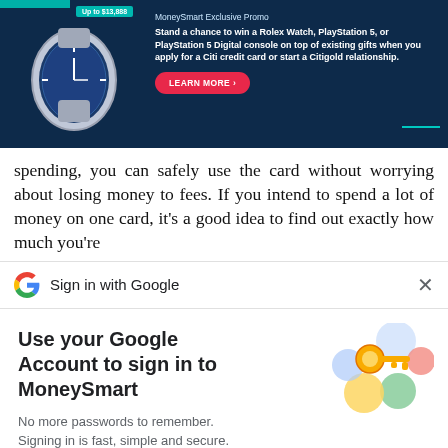[Figure (infographic): MoneySmart promotional banner with dark blue background, Rolex watch image on left, teal badge 'Up to $13,888', promotional text about winning a Rolex Watch, PlayStation 5, or PlayStation 5 Digital console, and a red 'LEARN MORE' button]
spending, you can safely use the card without worrying about losing money to fees. If you intend to spend a lot of money on one card, it's a good idea to find out exactly how much you're
[Figure (logo): Google 'G' logo rainbow colored icon with 'Sign in with Google' text and an X close button]
Use your Google Account to sign in to MoneySmart
No more passwords to remember.
Signing in is fast, simple and secure.
[Figure (illustration): Colorful key illustration with blue, yellow, green, and red circles/shapes representing Google sign-in security]
Continue